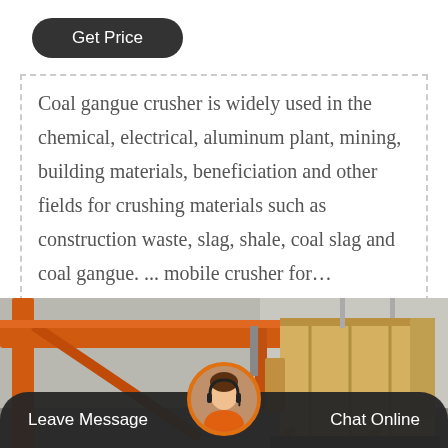Get Price
Coal gangue crusher is widely used in the chemical, electrical, aluminum plant, mining, building materials, beneficiation and other fields for crushing materials such as construction waste, slag, shale, coal slag and coal gangue. ... mobile crusher for…
Blog Detail
[Figure (photo): Industrial coal gangue crusher / mobile crusher equipment shown outdoors, with orange crane structure and yellow/beige crusher machine parts visible]
Leave Message
Chat Online